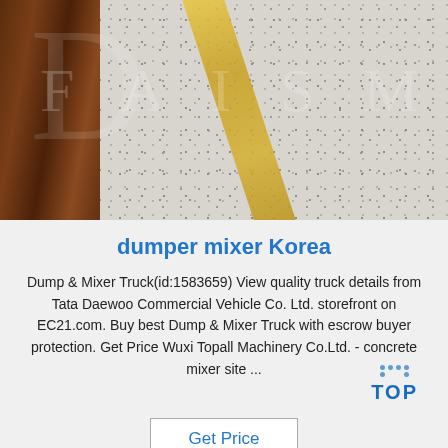[Figure (photo): Photo of flooring material samples including dark wood panels on the left and granite/stone tile on the right with a golden diagonal stripe. A watermark is overlaid on the image.]
dumper mixer Korea
Dump & Mixer Truck(id:1583659) View quality truck details from Tata Daewoo Commercial Vehicle Co. Ltd. storefront on EC21.com. Buy best Dump & Mixer Truck with escrow buyer protection. Get Price Wuxi Topall Machinery Co.Ltd. - concrete mixer site ...
Get Price